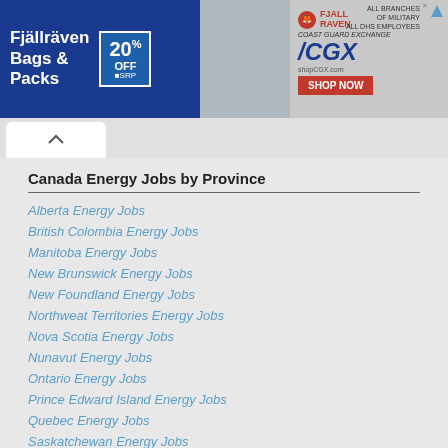[Figure (screenshot): Fjallraven Bags & Packs advertisement banner with 20% off MSRP promotion and CGX shop now button]
Canada Energy Jobs by Province
Alberta Energy Jobs
British Colombia Energy Jobs
Manitoba Energy Jobs
New Brunswick Energy Jobs
New Foundland Energy Jobs
Northweat Territories Energy Jobs
Nova Scotia Energy Jobs
Nunavut Energy Jobs
Ontario Energy Jobs
Prince Edward Island Energy Jobs
Quebec Energy Jobs
Saskatchewan Energy Jobs